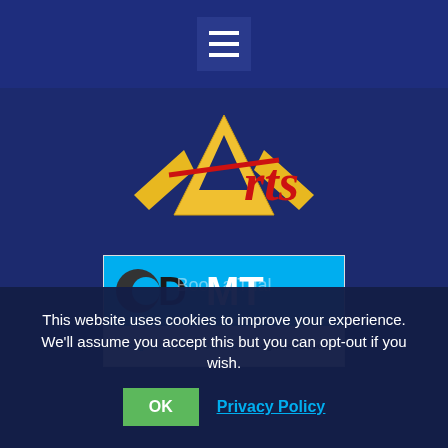[Figure (screenshot): Navigation bar with hamburger menu button (three horizontal white lines on dark blue background)]
[Figure (logo): Arts school logo: stylized letter A in yellow/gold with red cursive 'rts' text, on dark blue background]
[Figure (logo): CDMT Recognised Awards Scheme: Recognised School badge. White background with cyan blue top section showing CDMT logo, and text below.]
Book a Trial
This website uses cookies to improve your experience. We'll assume you accept this but you can opt-out if you wish.
OK
Privacy Policy